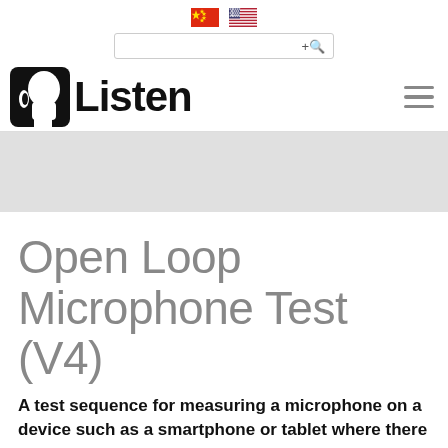[Figure (other): Chinese flag emoji and US flag emoji side by side as language selectors]
[Figure (other): Search bar with magnifying glass icon and + symbol]
[Figure (logo): Listen Inc logo: black silhouette of head with ear, bold black text 'Listen', hamburger menu icon on right]
[Figure (other): Grey banner/advertisement area]
Open Loop Microphone Test (V4)
A test sequence for measuring a microphone on a device such as a smartphone or tablet where there is no direct connection between the